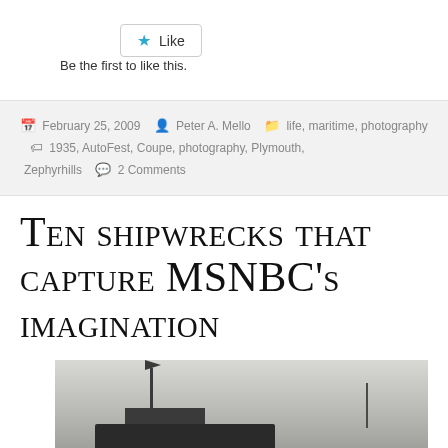Like
Be the first to like this.
February 25, 2009  Peter A. Mello  life, maritime, photography  1935, AutoFest, Coupe, photography, Plymouth, Zephyrhills  2 Comments
Ten shipwrecks that capture MSNBC's imagination
[Figure (photo): Black and white photograph of a shipwreck with a mast and hull visible]